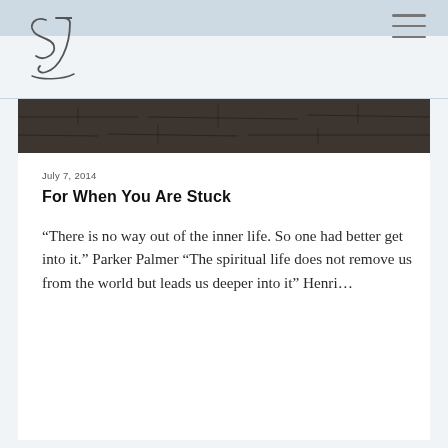[Figure (logo): Cursive script logo letters 'SJ' in handwritten style]
[Figure (photo): Dark stone wall or rock texture image used as hero banner]
July 7, 2014
For When You Are Stuck
“There is no way out of the inner life. So one had better get into it.” Parker Palmer “The spiritual life does not remove us from the world but leads us deeper into it” Henri…